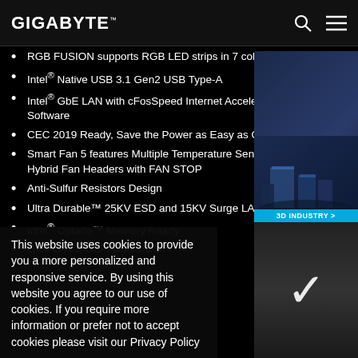GIGABYTE
RGB FUSION supports RGB LED strips in 7 colors
Intel® Native USB 3.1 Gen2 USB Type-A
Intel® GbE LAN with cFosSpeed Internet Accelerator Software
CEC 2019 Ready, Save the Power as Easy as One Click
Smart Fan 5 features Multiple Temperature Sensors and Hybrid Fan Headers with FAN STOP
Anti-Sulfur Resistors Design
Ultra Durable™ 25KV ESD and 15KV Surge LAN Protection
Intel® Optane™ Memory Ready
GIGABYTE UEFI DualBIOS™
This website uses cookies to provide you a more personalized and responsive service. By using this website you agree to our use of cookies. If you require more information or prefer not to accept cookies please visit our Privacy Policy
[Figure (illustration): 3D Industry illustration with a blue teal banner labeled '3D INDUSTRY >' and a dark panel with a white checkmark below]